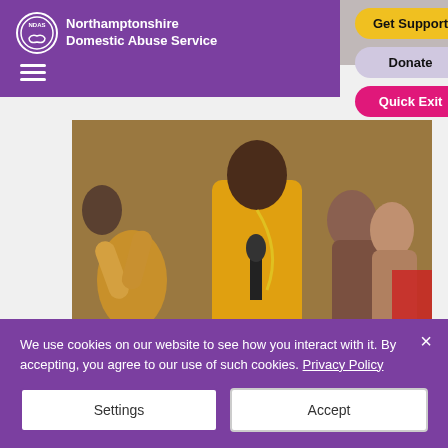Northamptonshire Domestic Abuse Service
Get Support
Donate
Quick Exit
[Figure (photo): Woman in yellow sweater holding microphone at a public event with crowd clapping in background]
News/Events
[Figure (photo): Partial view of second photo showing indoor scene]
We use cookies on our website to see how you interact with it. By accepting, you agree to our use of such cookies. Privacy Policy
Settings
Accept